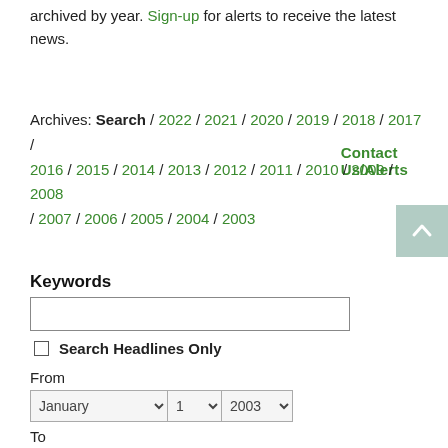archived by year. Sign-up for alerts to receive the latest news.
Contact Us/Alerts
Archives: Search / 2022 / 2021 / 2020 / 2019 / 2018 / 2017 / 2016 / 2015 / 2014 / 2013 / 2012 / 2011 / 2010 / 2009 / 2008 / 2007 / 2006 / 2005 / 2004 / 2003
Keywords
Search Headlines Only
From
To